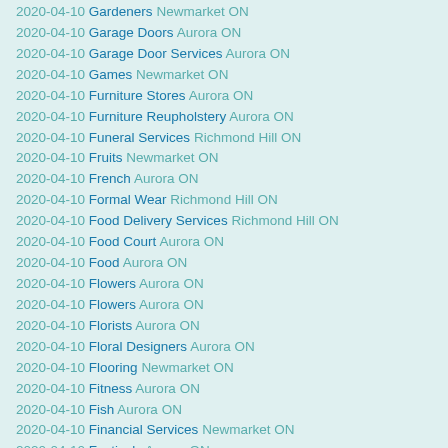2020-04-10 Gardeners Newmarket ON
2020-04-10 Garage Doors Aurora ON
2020-04-10 Garage Door Services Aurora ON
2020-04-10 Games Newmarket ON
2020-04-10 Furniture Stores Aurora ON
2020-04-10 Furniture Reupholstery Aurora ON
2020-04-10 Funeral Services Richmond Hill ON
2020-04-10 Fruits Newmarket ON
2020-04-10 French Aurora ON
2020-04-10 Formal Wear Richmond Hill ON
2020-04-10 Food Delivery Services Richmond Hill ON
2020-04-10 Food Court Aurora ON
2020-04-10 Food Aurora ON
2020-04-10 Flowers Aurora ON
2020-04-10 Flowers Aurora ON
2020-04-10 Florists Aurora ON
2020-04-10 Floral Designers Aurora ON
2020-04-10 Flooring Newmarket ON
2020-04-10 Fitness Aurora ON
2020-04-10 Fish Aurora ON
2020-04-10 Financial Services Newmarket ON
2020-04-10 Festivals Aurora ON
2020-04-10 Fast Food Aurora ON